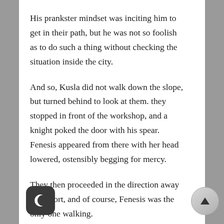His prankster mindset was inciting him to get in their path, but he was not so foolish as to do such a thing without checking the situation inside the city.
And so, Kusla did not walk down the slope, but turned behind to look at them. they stopped in front of the workshop, and a knight poked the door with his spear. Fenesis appeared from there with her head lowered, ostensibly begging for mercy.
They then proceeded in the direction away from port, and of course, Fenesis was the only one walking.